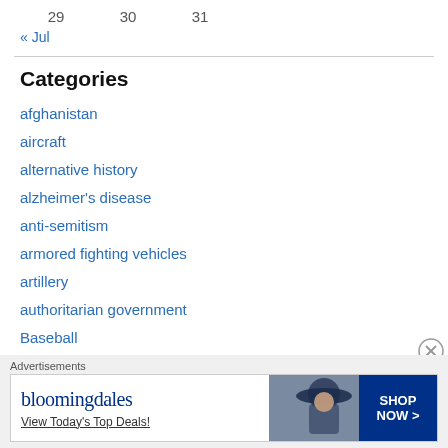29   30   31
« Jul
Categories
afghanistan
aircraft
alternative history
alzheimer's disease
anti-semitism
armored fighting vehicles
artillery
authoritarian government
Baseball
baseball
[Figure (other): Bloomingdales advertisement banner: 'View Today's Top Deals!' with SHOP NOW button and image of woman in hat]
Advertisements